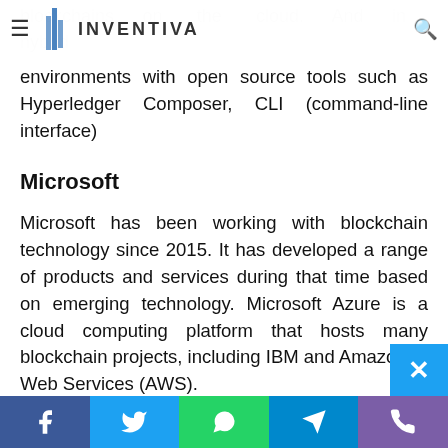INVENTIVA
blockchains on the cloud. And in hybrid environments with open source tools such as Hyperledger Composer, CLI (command-line interface)
Microsoft
Microsoft has been working with blockchain technology since 2015. It has developed a range of products and services during that time based on emerging technology. Microsoft Azure is a cloud computing platform that hosts many blockchain projects, including IBM and Amazon Web Services (AWS).